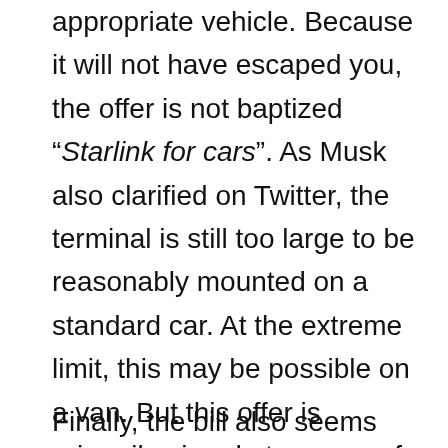appropriate vehicle. Because it will not have escaped you, the offer is not baptized “Starlink for cars”. As Musk also clarified on Twitter, the terminal is still too large to be reasonably mounted on a standard car. At the extreme limit, this may be possible on a van. But this offer is primarily aimed at owners of caravans and motorhomes.
Finally, the bill also seems particularly